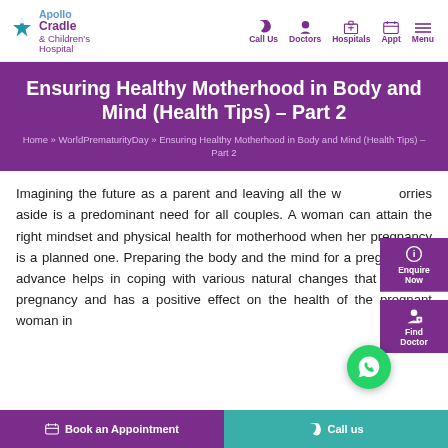[Figure (logo): Apollo Cradle & Children's Hospital logo with teal star icon]
Call Us   Doctors   Hospitals   Appt   Menu
Ensuring Healthy Motherhood in Body and Mind (Health Tips) – Part 2
Home » WorldPrematurityDay » Ensuring Healthy Motherhood in Body and Mind (Health Tips) – Part 2
Imagining the future as a parent and leaving all the worries aside is a predominant need for all couples. A woman can attain the right mindset and physical health for motherhood when her pregnancy is a planned one. Preparing the body and the mind for a pregnancy in advance helps in coping with various natural changes that occur in pregnancy and has a positive effect on the health of the pregnant woman in
Book an Appointment   Call us